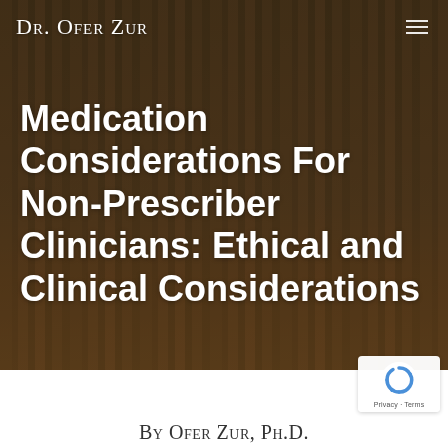Dr. Ofer Zur
[Figure (photo): Background photo of stacked books on a wooden table with a blurred bookshelf in the background, warm brown tones]
Medication Considerations For Non-Prescriber Clinicians: Ethical and Clinical Considerations
By Ofer Zur, Ph.D.